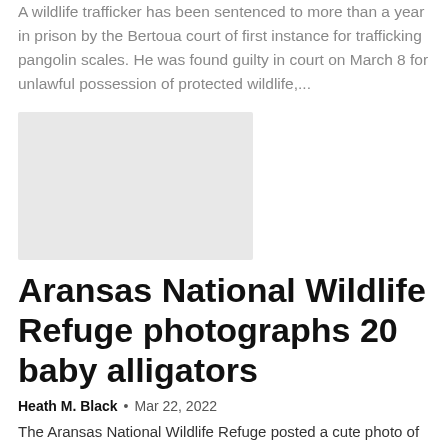A wildlife trafficker has been sentenced to more than a year in prison by the Bertoua court of first instance for trafficking pangolin scales. He was found guilty in court on March 8 for unlawful possession of protected wildlife,...
[Figure (photo): Placeholder image block (light gray rectangle)]
Aransas National Wildlife Refuge photographs 20 baby alligators
Heath M. Black  •  Mar 22, 2022
The Aransas National Wildlife Refuge posted a cute photo of 20 baby alligators on one of its trails last weekend. Kevin Doxstater...